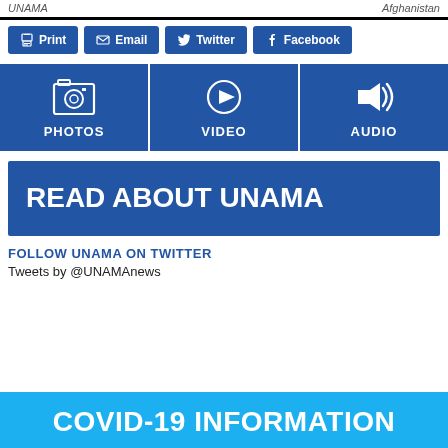UNAMA    Afghanistan
[Figure (screenshot): Social share buttons row: Print, Email, Twitter, Facebook]
[Figure (infographic): Media navigation tiles: PHOTOS, VIDEO, AUDIO on dark blue background]
[Figure (infographic): Blue banner reading READ ABOUT UNAMA]
FOLLOW UNAMA ON TWITTER
Tweets by @UNAMAnews
COVID-19 INFORMATION